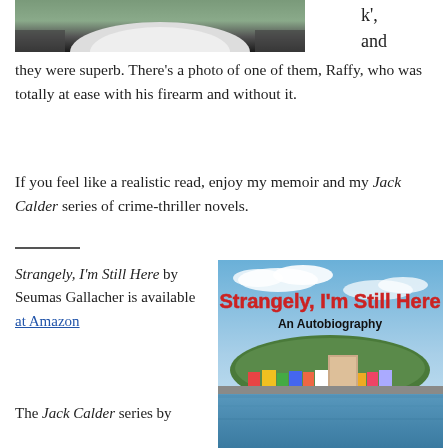[Figure (photo): Top portion of a person photo, cropped, showing dark clothing against a green outdoor background]
k', and they were superb. There's a photo of one of them, Raffy, who was totally at ease with his firearm and without it.
If you feel like a realistic read, enjoy my memoir and my Jack Calder series of crime-thriller novels.
Strangely, I'm Still Here by Seumas Gallacher is available at Amazon
[Figure (photo): Book cover of 'Strangely, I'm Still Here: An Autobiography' by Seumas Gallacher, showing a Scottish coastal town with colorful buildings and water]
The Jack Calder series by